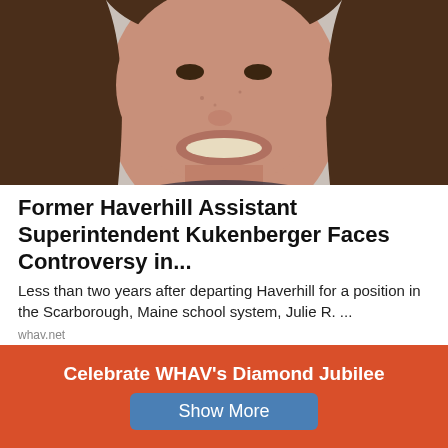[Figure (photo): Close-up photo of a smiling woman with brown hair, cropped to show face and upper shoulders, light background]
Former Haverhill Assistant Superintendent Kukenberger Faces Controversy in...
Less than two years after departing Haverhill for a position in the Scarborough, Maine school system, Julie R. ...
whav.net
[Figure (photo): Partial photo showing a dark vehicle or building exterior, cropped]
Celebrate WHAV's Diamond Jubilee
Show More